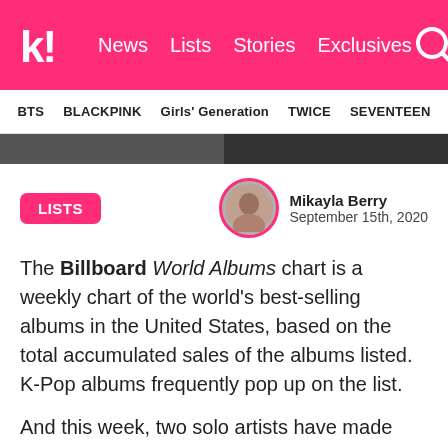k! News Lists Stories Exclusives
BTS BLACKPINK Girls' Generation TWICE SEVENTEEN
[Figure (photo): Dark image strip showing partial photos, split in two halves]
LISTS
Mikayla Berry
September 15th, 2020
The Billboard World Albums chart is a weekly chart of the world's best-selling albums in the United States, based on the total accumulated sales of the albums listed. K-Pop albums frequently pop up on the list.
And this week, two solo artists have made their debut on the chart with their new albums! Plus, 9 other K-Pop albums made the list, which means that 11 of the 15 albums on the chart this